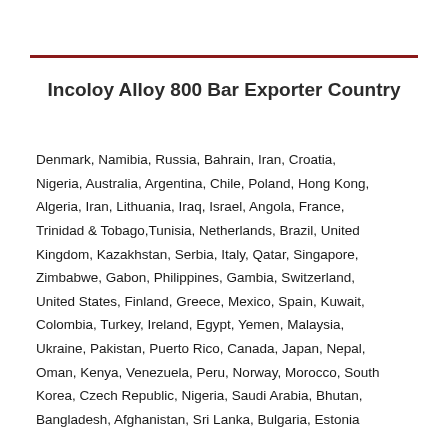Incoloy Alloy 800 Bar Exporter Country
Denmark, Namibia, Russia, Bahrain, Iran, Croatia, Nigeria, Australia, Argentina, Chile, Poland, Hong Kong, Algeria, Iran, Lithuania, Iraq, Israel, Angola, France, Trinidad & Tobago,Tunisia, Netherlands, Brazil, United Kingdom, Kazakhstan, Serbia, Italy, Qatar, Singapore, Zimbabwe, Gabon, Philippines, Gambia, Switzerland, United States, Finland, Greece, Mexico, Spain, Kuwait, Colombia, Turkey, Ireland, Egypt, Yemen, Malaysia, Ukraine, Pakistan, Puerto Rico, Canada, Japan, Nepal, Oman, Kenya, Venezuela, Peru, Norway, Morocco, South Korea, Czech Republic, Nigeria, Saudi Arabia, Bhutan, Bangladesh, Afghanistan, Sri Lanka, Bulgaria, Estonia